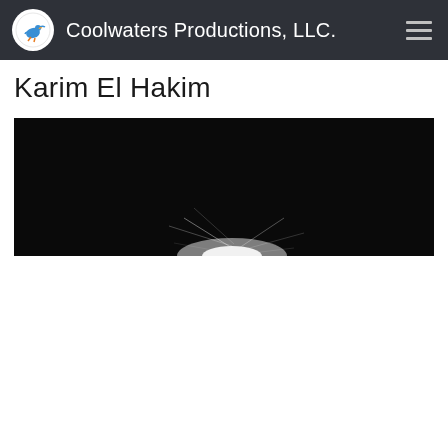Coolwaters Productions, LLC.
Karim El Hakim
[Figure (photo): Black and white photograph showing a bright light or sparks against a dark black background, with white spray or light burst visible in the center-right of the image]